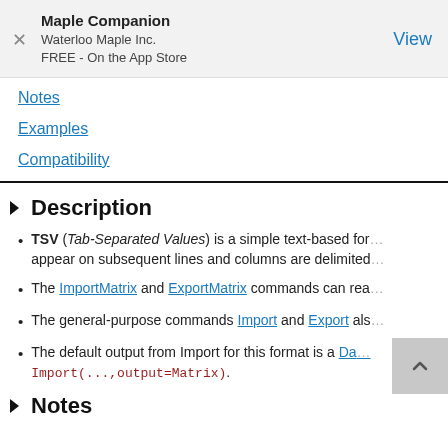Maple Companion
Waterloo Maple Inc.
FREE - On the App Store
View
Notes
Examples
Compatibility
▼ Description
TSV (Tab-Separated Values) is a simple text-based for... appear on subsequent lines and columns are delimited...
The ImportMatrix and ExportMatrix commands can rea...
The general-purpose commands Import and Export als...
The default output from Import for this format is a Dat... Import(...,output=Matrix).
▼ Notes